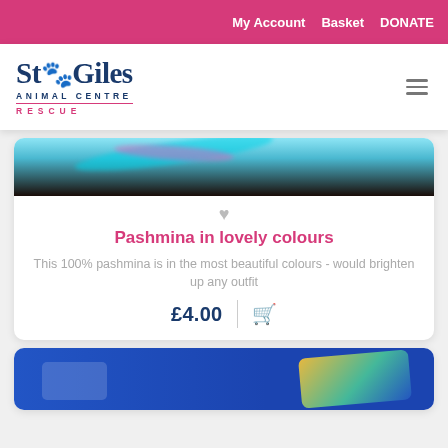My Account   Basket   DONATE
[Figure (logo): St Giles Animal Centre Rescue logo with paw print]
[Figure (photo): Pashmina product image showing colourful fabric with blue, pink and teal colours on dark background]
♡
Pashmina in lovely colours
This 100% pashmina is in the most beautiful colours - would brighten up any outfit
£4.00
[Figure (photo): Second product image showing items on blue background with colourful patterned item visible]